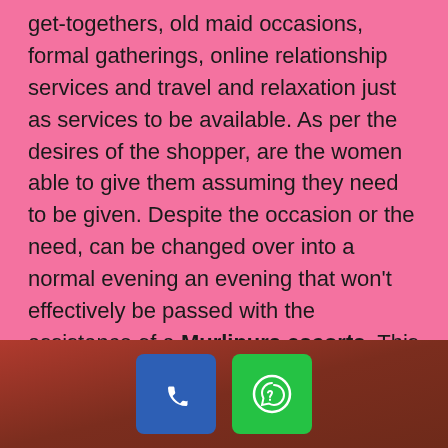get-togethers, old maid occasions, formal gatherings, online relationship services and travel and relaxation just as services to be available. As per the desires of the shopper, are the women able to give them assuming they need to be given. Despite the occasion or the need, can be changed over into a normal evening an evening that won't effectively be passed with the assistance of a Murlipura escorts. This is the excellence of help that men from everywhere the world partaking. It is a perception that unimaginably displays are all that it needs to transform it into a piece of such affiliations. These Murlipura Call girls are delightful sharp also, experienced in various parts.
[Figure (other): Footer bar with phone call button (blue) and WhatsApp button (green) on a dark red/brown gradient background]